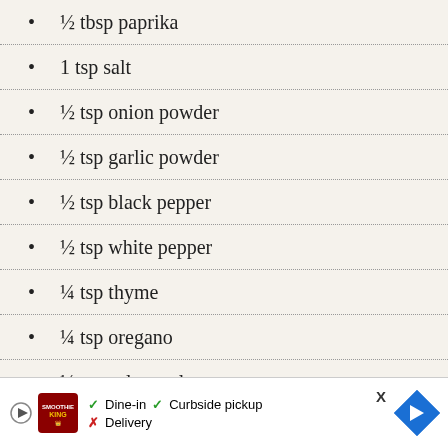½ tbsp paprika
1 tsp salt
½ tsp onion powder
½ tsp garlic powder
½ tsp black pepper
½ tsp white pepper
¼ tsp thyme
¼ tsp oregano
¼ tsp celery salt
[Figure (infographic): Morton Himalayan Pink Salt advertisement with product image, text 'All Pink. All Natural. All Morton. Morton® Fine Himalayan Pink Salt', a BUY NOW button, and Instacart logo]
Dash of cayenne
2 boneless skinless chicken breasts extra
[Figure (infographic): Bottom page advertisement bar with Smoothie King logo, play icon, dine-in/curbside pickup/delivery options, close X button, and blue navigation arrow]